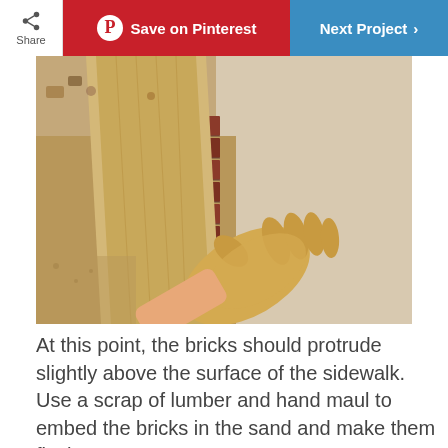Share | Save on Pinterest | Next Project
[Figure (photo): A gloved hand pressing a wooden board (scrap lumber) down onto bricks set along a concrete sidewalk edge, in a sandy trench, to embed them flush.]
At this point, the bricks should protrude slightly above the surface of the sidewalk. Use a scrap of lumber and hand maul to embed the bricks in the sand and make them flush